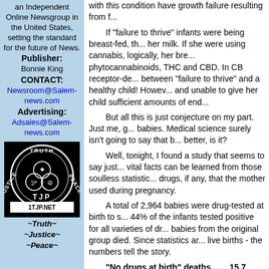an Independent Online Newsgroup in the United States, setting the standard for the future of News.
Publisher: Bonnie King
CONTACT: Newsroom@Salem-news.com
Advertising: Adsales@Salem-news.com
[Figure (logo): Truth Justice Peace circular logo with TJP text and 1TJP.NET below]
~Truth~ ~Justice~ ~Peace~
with this condition have growth failure resulting from f...
If "failure to thrive" infants were being breast-fed, th... her milk. If she were using cannabis, logically, her bre... phytocannabinoids, THC and CBD. In CB receptor-de... between "failure to thrive" and a healthy child! Howev... and unable to give her child sufficient amounts of end...
But all this is just conjecture on my part. Just me, g... babies. Medical science surely isn't going to say that b... better, is it?
Well, tonight, I found a study that seems to say just... vital facts can be learned from those soulless statistic... drugs, if any, that the mother used during pregnancy.
A total of 2,964 babies were drug-tested at birth to s... 44% of the infants tested positive for all varieties of dr... babies from the original group died. Since statistics ar... live births - the numbers tell the story.
"No drugs at birth" deaths....... 15.7 deaths per 1...
"Cocaine positive" deaths.......17.7 deaths per 10...
"Opiate positive" deaths.......18.4 deaths per 100...
"Cannabis positive" deaths.... 8.9 deaths per 10...
The cocaine and opiate babies have a higher death... "cannabis" babies! Having extra cannabinoids in their... seems to have some sort of a protective effect. The c...